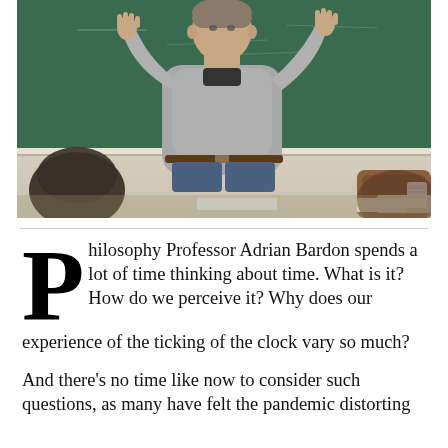[Figure (photo): A man in a grey sweater stands in front of a green chalkboard with his hands raised, teaching a class. Students are visible in the foreground from behind.]
Philosophy Professor Adrian Bardon spends a lot of time thinking about time. What is it? How do we perceive it? Why does our experience of the ticking of the clock vary so much?
And there's no time like now to consider such questions, as many have felt the pandemic distorting